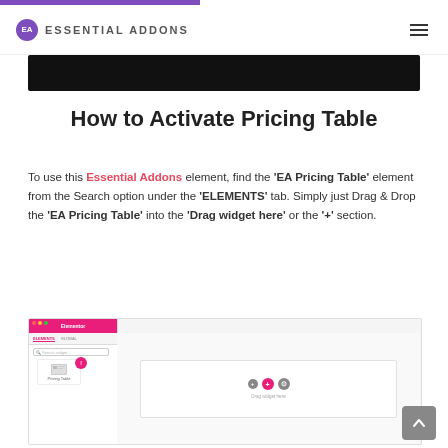Essential Addons (logo + navigation)
How to Activate Pricing Table
To use this Essential Addons element, find the ‘EA Pricing Table’ element from the Search option under the ‘ELEMENTS’ tab. Simply just Drag & Drop the ‘EA Pricing Table’ into the ‘Drag widget here’ or the ‘+’ section.
[Figure (screenshot): Screenshot of the Elementor editor interface showing the EA Pricing Table widget being dragged into the canvas area. Left panel shows element search with Pricing Table card, right side shows the drag widget area with plus icons.]